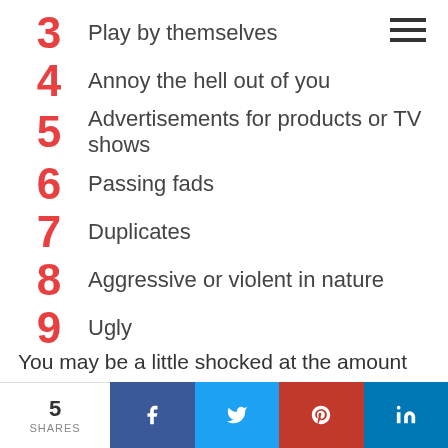3 Play by themselves
4 Annoy the hell out of you
5 Advertisements for products or TV shows
6 Passing fads
7 Duplicates
8 Aggressive or violent in nature
9 Ugly
You may be a little shocked at the amount of toys to be given away. See this as a clense. Simplicity Parenting advises doing this change
5 SHARES | Facebook | Twitter | Pinterest | LinkedIn